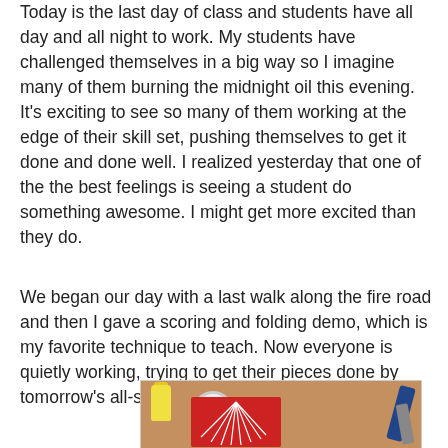Today is the last day of class and students have all day and all night to work. My students have challenged themselves in a big way so I imagine many of them burning the midnight oil this evening. It's exciting to see so many of them working at the edge of their skill set, pushing themselves to get it done and done well. I realized yesterday that one of the the best feelings is seeing a student do something awesome. I might get more excited than they do.
We began our day with a last walk along the fire road and then I gave a scoring and folding demo, which is my favorite technique to teach. Now everyone is quietly working, trying to get their pieces done by tomorrow's all-school show and tell at 11am.
[Figure (photo): A craft workspace with a red card, white paper strands/fibers, a glue bottle with yellow cap, a roll of white tape, blue-handled pliers, and scissors on a wooden table surface.]